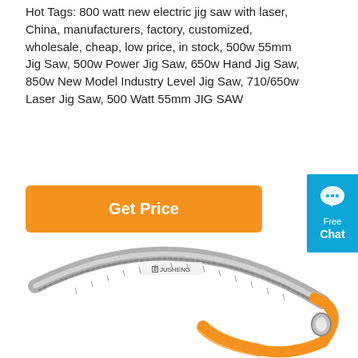Hot Tags: 800 watt new electric jig saw with laser, China, manufacturers, factory, customized, wholesale, cheap, low price, in stock, 500w 55mm Jig Saw, 500w Power Jig Saw, 650w Hand Jig Saw, 850w New Model Industry Level Jig Saw, 710/650w Laser Jig Saw, 500 Watt 55mm JIG SAW
[Figure (other): Orange 'Get Price' button]
[Figure (other): Blue 'Free Chat' widget on right edge]
[Figure (photo): A folding hand saw (JUSHENG brand) with a curved silver blade with teeth and an orange handle/frame, shown open against white background]